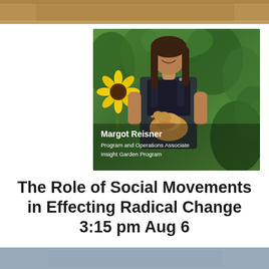[Figure (photo): Partial top strip showing edge of another image with warm brown/orange tones]
[Figure (photo): Woman named Margot Reisner smiling outdoors in a garden setting, holding a chicken, surrounded by sunflowers and green plants. She wears dark overalls. Text overlay shows her name and title.]
Margot Reisner
Program and Operations Associate
Insight Garden Program
The Role of Social Movements in Effecting Radical Change 3:15 pm Aug 6
[Figure (photo): Partial bottom strip showing edge of another image with blue/grey tones]